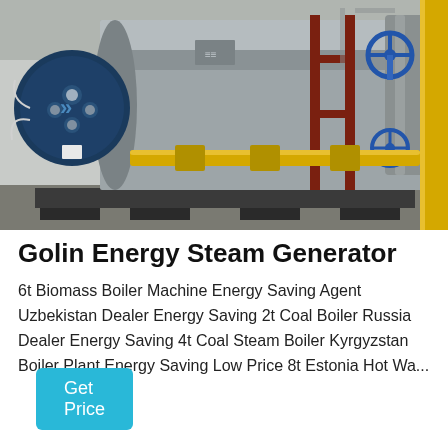[Figure (photo): Industrial steam boiler installation in a facility. A large cylindrical silver/grey horizontal boiler is shown with a blue circular burner assembly on the left side. Yellow gas pipes run along the bottom and right side. Blue valve wheels and metal piping are visible on the right. A dark red support structure is in the background. The facility has a white/grey interior.]
Golin Energy Steam Generator
6t Biomass Boiler Machine Energy Saving Agent Uzbekistan Dealer Energy Saving 2t Coal Boiler Russia Dealer Energy Saving 4t Coal Steam Boiler Kyrgyzstan Boiler Plant Energy Saving Low Price 8t Estonia Hot Wa...
Get Price